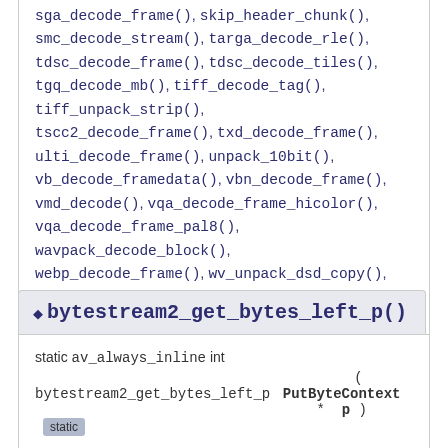sga_decode_frame(), skip_header_chunk(), smc_decode_stream(), targa_decode_rle(), tdsc_decode_frame(), tdsc_decode_tiles(), tgq_decode_mb(), tiff_decode_tag(), tiff_unpack_strip(), tscc2_decode_frame(), txd_decode_frame(), ulti_decode_frame(), unpack_10bit(), vb_decode_framedata(), vbn_decode_frame(), vmd_decode(), vqa_decode_frame_hicolor(), vqa_decode_frame_pal8(), wavpack_decode_block(), webp_decode_frame(), wv_unpack_dsd_copy(), wv_unpack_dsd_fast(), wv_unpack_dsd_high(), xan_decode_chroma(), xan_decode_frame(), xan_unpack(), xan_unpack_luma(), xan_wc3_decode_frame(), and xwd_decode_frame().
bytestream2_get_bytes_left_p()
static av_always_inline int bytestream2_get_bytes_left_p ( PutByteContext * p ) [static]